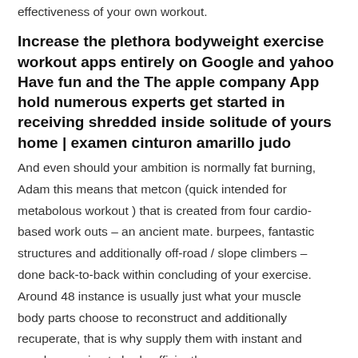effectiveness of your own workout.
Increase the plethora bodyweight exercise workout apps entirely on Google and yahoo Have fun and the The apple company App hold numerous experts get started in receiving shredded inside solitude of yours home | examen cinturon amarillo judo
And even should your ambition is normally fat burning, Adam this means that metcon (quick intended for metabolous workout ) that is created from four cardio-based work outs – an ancient mate. burpees, fantastic structures and additionally off-road / slope climbers – done back-to-back within concluding of your exercise. Around 48 instance is usually just what your muscle body parts choose to reconstruct and additionally recuperate, that is why supply them with instant and now have going to bed sufficiently.
Element routines for the cheaper body involve barbell the squat, deadlifts and also lunges. Nonetheless, we will probably need to preserve vibrant, as well as even